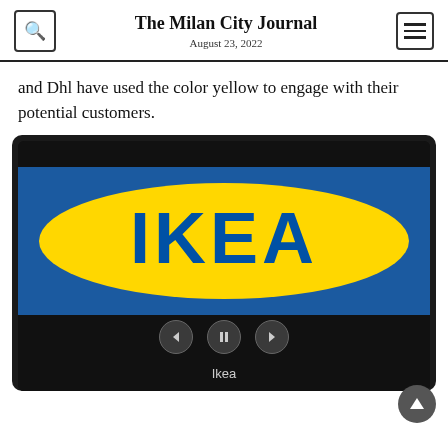The Milan City Journal
August 23, 2022
and Dhl have used the color yellow to engage with their potential customers.
[Figure (logo): IKEA logo displayed on a slideshow/carousel player with dark background, blue rectangle background with yellow oval containing blue IKEA text. Playback controls (back, pause, forward) shown below. Caption reads 'Ikea'.]